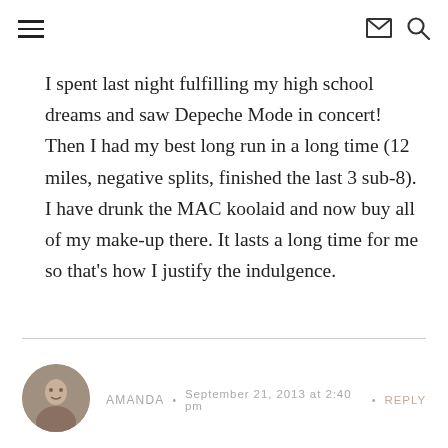Navigation header with hamburger menu, envelope icon, and search icon
I spent last night fulfilling my high school dreams and saw Depeche Mode in concert! Then I had my best long run in a long time (12 miles, negative splits, finished the last 3 sub-8).
I have drunk the MAC koolaid and now buy all of my make-up there. It lasts a long time for me so that’s how I justify the indulgence.
AMANDA • SEPTEMBER 21, 2013 AT 2:40 PM • REPLY